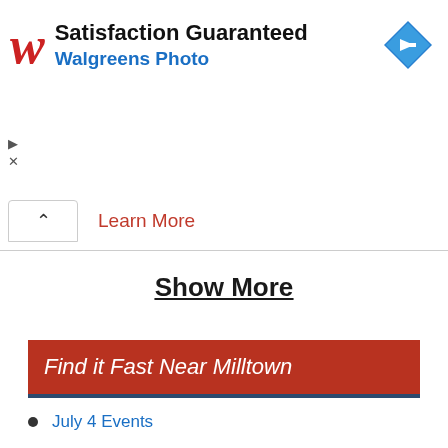[Figure (infographic): Walgreens advertisement banner with red italic W logo, text 'Satisfaction Guaranteed' and 'Walgreens Photo', and a blue diamond navigation icon on the right]
Learn More
Show More
Find it Fast Near Milltown
July 4 Events
Wineries & Vineyards
Dog Parks
Road Races
Car Deals and Guide